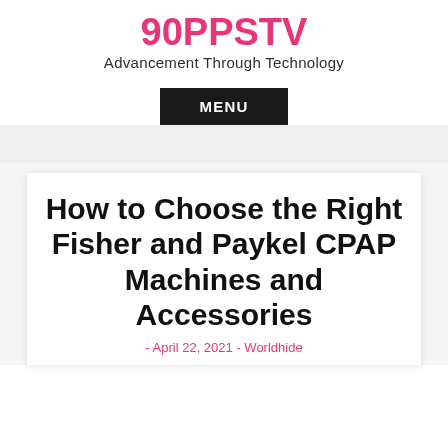90PPSTV
Advancement Through Technology
MENU
How to Choose the Right Fisher and Paykel CPAP Machines and Accessories
- April 22, 2021 - Worldhide